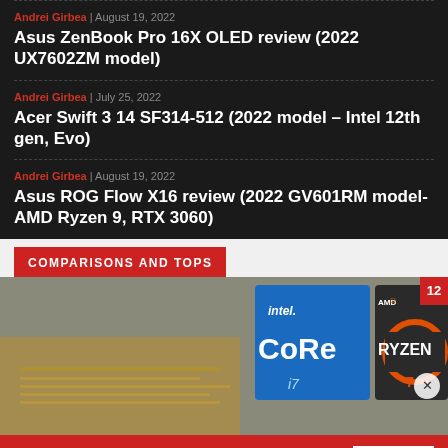Andrei Girbea | August 19, 2022
Asus ZenBook Pro 16X OLED review (2022 UX7602ZM model)
Andrei Girbea | July 25, 2022
Acer Swift 3 14 SF314-512 (2022 model – Intel 12th gen, Evo)
Andrei Girbea | August 19, 2022
Asus ROG Flow X16 review (2022 GV601RM model- AMD Ryzen 9, RTX 3060)
COMPARISONS AND TOPS
[Figure (photo): Photo of Intel Core i7 and AMD Ryzen 7 processor chips with a numbered badge '12' in the top right corner and a close button.]
[Figure (photo): Advertisement banner: 'KISS BORING LIPS GOODBYE' with SHOP NOW button and Macy's star logo on red background.]